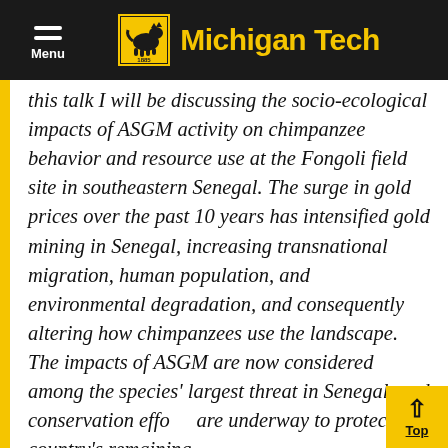Menu | Michigan Tech
this talk I will be discussing the socio-ecological impacts of ASGM activity on chimpanzee behavior and resource use at the Fongoli field site in southeastern Senegal. The surge in gold prices over the past 10 years has intensified gold mining in Senegal, increasing transnational migration, human population, and environmental degradation, and consequently altering how chimpanzees use the landscape. The impacts of ASGM are now considered among the species' largest threat in Senegal, and conservation efforts are underway to protect the country's remaining